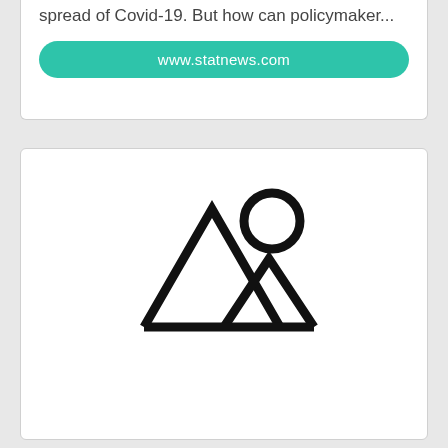spread of Covid-19. But how can policymaker...
www.statnews.com
[Figure (illustration): Image placeholder icon showing mountain landscape outline with sun/circle, indicating missing or loading image]